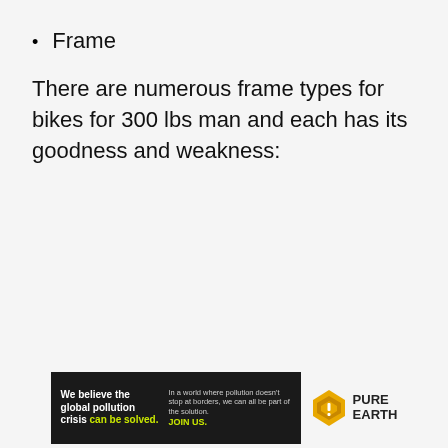Frame
There are numerous frame types for bikes for 300 lbs man and each has its goodness and weakness:
[Figure (infographic): Advertisement banner for Pure Earth. Black box on left reads 'We believe the global pollution crisis can be solved.' with 'can be solved.' in yellow-green. Right side of black box reads 'In a world where pollution doesn't stop at borders, we can all be part of the solution. JOIN US.' Pure Earth logo with diamond/shield icon appears to the right of the black box.]